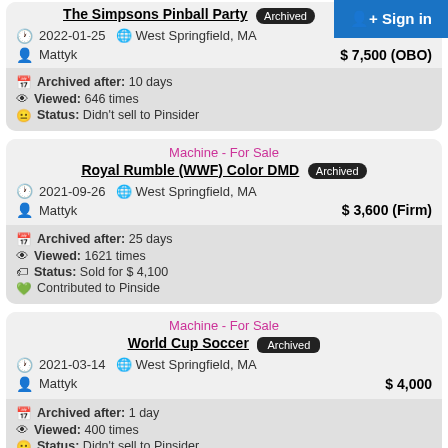The Simpsons Pinball Party [Archived]
2022-01-25 | West Springfield, MA | Mattyk | $ 7,500 (OBO)
Archived after: 10 days
Viewed: 646 times
Status: Didn't sell to Pinsider
Machine - For Sale
Royal Rumble (WWF) Color DMD [Archived]
2021-09-26 | West Springfield, MA | Mattyk | $ 3,600 (Firm)
Archived after: 25 days
Viewed: 1621 times
Status: Sold for $ 4,100
Contributed to Pinside
Machine - For Sale
World Cup Soccer [Archived]
2021-03-14 | West Springfield, MA | Mattyk | $ 4,000
Archived after: 1 day
Viewed: 400 times
Status: Didn't sell to Pinsider